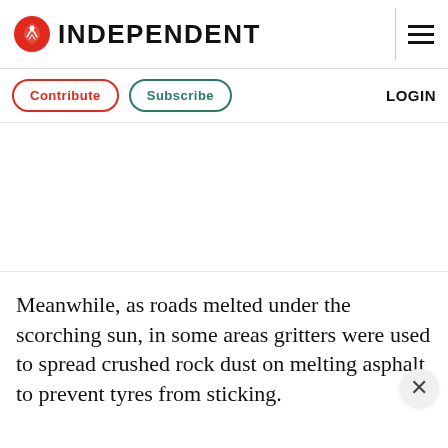INDEPENDENT
Contribute   Subscribe   LOGIN
Meanwhile, as roads melted under the scorching sun, in some areas gritters were used to spread crushed rock dust on melting asphalt to prevent tyres from sticking.